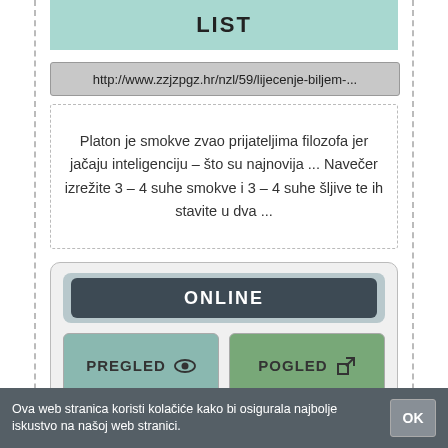LIST
http://www.zzjzpgz.hr/nzl/59/lijecenje-biljem-...
Platon je smokve zvao prijateljima filozofa jer jačaju inteligenciju – što su najnovija ... Navečer izrežite 3 – 4 suhe smokve i 3 – 4 suhe šljive te ih stavite u dva ...
ONLINE
PREGLED
POGLED
Ova web stranica koristi kolačiće kako bi osigurala najbolje iskustvo na našoj web stranici.